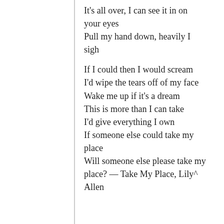It's all over, I can see it in on your eyes
Pull my hand down, heavily I sigh

If I could then I would scream
I'd wipe the tears off of my face
Wake me up if it's a dream
This is more than I can take
I'd give everything I own
If someone else could take my place
Will someone else please take my place? — Take My Place, Lily Allen